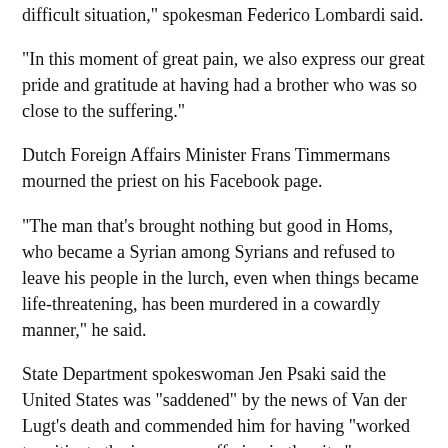difficult situation," spokesman Federico Lombardi said.
"In this moment of great pain, we also express our great pride and gratitude at having had a brother who was so close to the suffering."
Dutch Foreign Affairs Minister Frans Timmermans mourned the priest on his Facebook page.
"The man that's brought nothing but good in Homs, who became a Syrian among Syrians and refused to leave his people in the lurch, even when things became life-threatening, has been murdered in a cowardly manner," he said.
State Department spokeswoman Jen Psaki said the United States was "saddened" by the news of Van der Lugt's death and commended him for having "worked to mitigate the immense suffering in the city."
The office of Ahmad Jarba, president of the opposition National Council, condemned the murder "in the strongest terms."
It said the Assad regime was "ultimately responsible for this crime, as